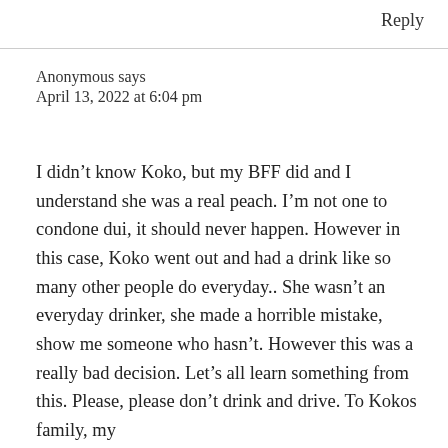Reply
Anonymous says
April 13, 2022 at 6:04 pm
I didn't know Koko, but my BFF did and I understand she was a real peach. I'm not one to condone dui, it should never happen. However in this case, Koko went out and had a drink like so many other people do everyday.. She wasn't an everyday drinker, she made a horrible mistake, show me someone who hasn't. However this was a really bad decision. Let's all learn something from this. Please, please don't drink and drive. To Kokos family, my